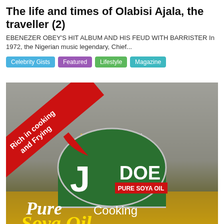The life and times of Olabisi Ajala, the traveller (2)
EBENEZER OBEY'S HIT ALBUM AND HIS FEUD WITH BARRISTER In 1972, the Nigerian music legendary, Chief...
Celebrity Gists
Featured
Lifestyle
Magazine
[Figure (photo): Advertisement for JDOE Pure Soya Oil showing the product logo with a green half-circle design, a red diagonal banner reading 'Rich in cooking and Frying', NAFDAC REG. NO.: A8-6103L, and large white text saying 'Pure Cooking' with yellow text beginning 'Soya Oil' at the bottom.]